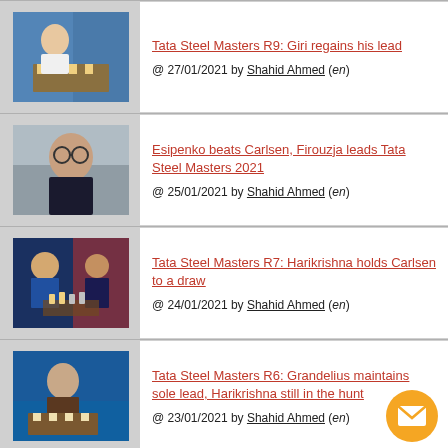[Figure (photo): Person playing chess, blue background]
Tata Steel Masters R9: Giri regains his lead
@ 27/01/2021 by Shahid Ahmed (en)
[Figure (photo): Young man with glasses smiling, gray background]
Esipenko beats Carlsen, Firouzja leads Tata Steel Masters 2021
@ 25/01/2021 by Shahid Ahmed (en)
[Figure (photo): Two chess players at board, dark blue background with red]
Tata Steel Masters R7: Harikrishna holds Carlsen to a draw
@ 24/01/2021 by Shahid Ahmed (en)
[Figure (photo): Person playing chess, blue background]
Tata Steel Masters R6: Grandelius maintains sole lead, Harikrishna still in the hunt
@ 23/01/2021 by Shahid Ahmed (en)